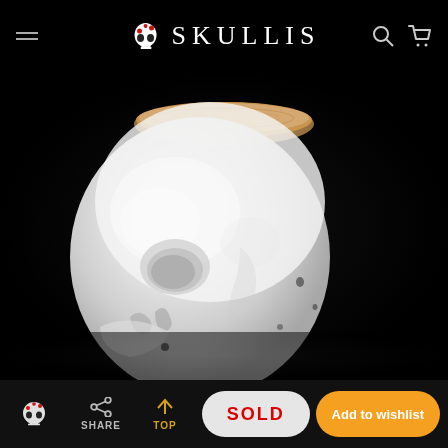SKULLIS
[Figure (photo): Close-up photo of a white/translucent agate or opalite crystal skull sculpture against a black background, with a wooden base partially visible at top. The skull shows facial bone structure details with eye socket and nasal cavity visible.]
SOLD
Add to wishlist